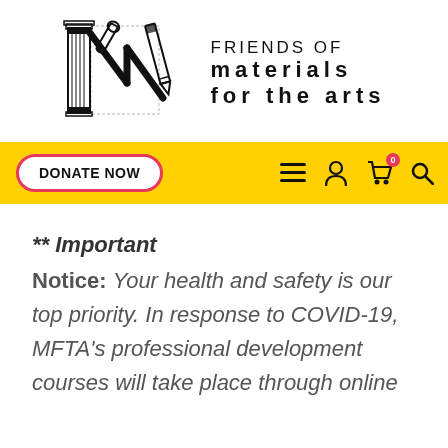[Figure (logo): Friends of Materials for the Arts logo — decorative M letter combined with art tools (column, wrench, pencil) and the organization name]
[Figure (screenshot): Yellow navigation bar with DONATE NOW button (pink/red border), hamburger menu icon, user icon, shopping cart icon with 0 badge, and search icon]
** Important Notice: Your health and safety is our top priority. In response to COVID-19, MFTA's professional development courses will take place through online